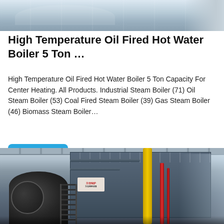[Figure (photo): Industrial boiler equipment in a factory setting, top portion of image showing blue/gray machinery]
High Temperature Oil Fired Hot Water Boiler 5 Ton …
High Temperature Oil Fired Hot Water Boiler 5 Ton Capacity For Center Heating. All Products. Industrial Steam Boiler (71) Oil Steam Boiler (53) Coal Fired Steam Boiler (39) Gas Steam Boiler (46) Biomass Steam Boiler…
[Figure (photo): Industrial steam boiler facility with dark cylindrical boiler on left, large gray rectangular structure with Chinese brand signage, yellow vertical pipe, and red pipes on right side, inside a large factory building]